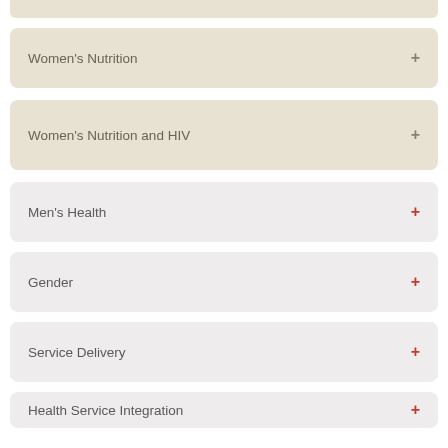Women's Nutrition +
Women's Nutrition and HIV +
Men's Health +
Gender +
Service Delivery +
Health Service Integration +
Health Systems +